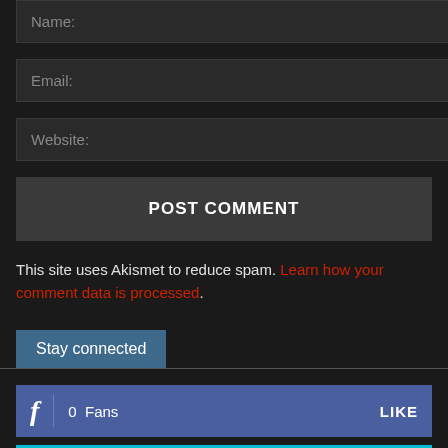Name:
Email:
Website:
POST COMMENT
This site uses Akismet to reduce spam. Learn how your comment data is processed.
Stay connected
0  Fans  LIKE
0  Followers  FOLLOW